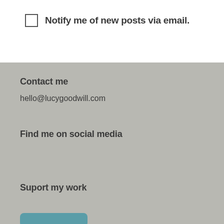Notify me of new posts via email.
Contact me
hello@lucygoodwill.com
Find me on social media
Suport my work